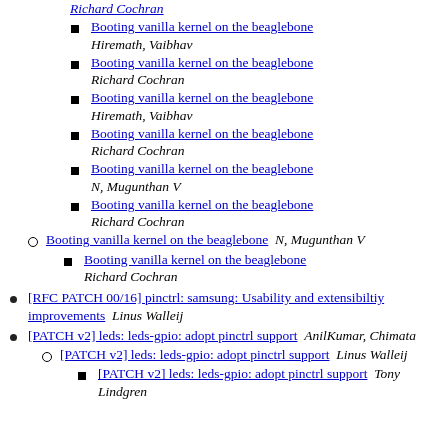Booting vanilla kernel on the beaglebone  Richard Cochran
Booting vanilla kernel on the beaglebone  Hiremath, Vaibhav
Booting vanilla kernel on the beaglebone  Richard Cochran
Booting vanilla kernel on the beaglebone  Hiremath, Vaibhav
Booting vanilla kernel on the beaglebone  Richard Cochran
Booting vanilla kernel on the beaglebone  N, Mugunthan V
Booting vanilla kernel on the beaglebone  Richard Cochran
Booting vanilla kernel on the beaglebone   N, Mugunthan V
Booting vanilla kernel on the beaglebone  Richard Cochran
[RFC PATCH 00/16] pinctrl: samsung: Usability and extensibiltiy improvements   Linus Walleij
[PATCH v2] leds: leds-gpio: adopt pinctrl support   AnilKumar, Chimata
[PATCH v2] leds: leds-gpio: adopt pinctrl support   Linus Walleij
[PATCH v2] leds: leds-gpio: adopt pinctrl support   Tony Lindgren